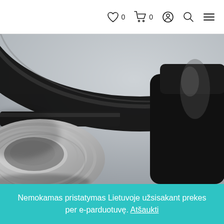♡ 0  🛒 0  👤  🔍  ≡
[Figure (photo): Close-up macro photograph of black and silver/white headphones. The ear cup padding (white/silver foam) is visible at the bottom-left, with the glossy black headband curving across the frame. Background is out-of-focus grey.]
Nemokamas pristatymas Lietuvoje užsisakant prekes per e-parduotuvę. Atšaukti